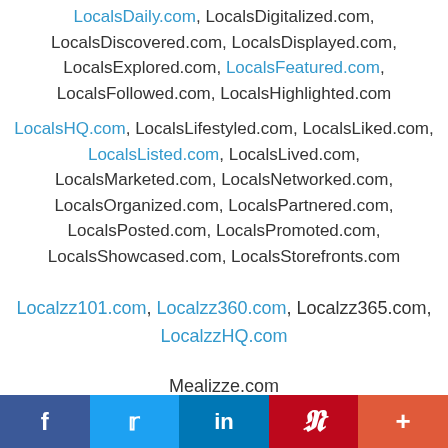LocalsDaily.com, LocalsDigitalized.com, LocalsDiscovered.com, LocalsDisplayed.com, LocalsExplored.com, LocalsFeatured.com, LocalsFollowed.com, LocalsHighlighted.com
LocalsHQ.com, LocalsLifestyled.com, LocalsLiked.com, LocalsListed.com, LocalsLived.com, LocalsMarketed.com, LocalsNetworked.com, LocalsOrganized.com, LocalsPartnered.com, LocalsPosted.com, LocalsPromoted.com, LocalsShowcased.com, LocalsStorefronts.com
Localzz101.com, Localzz360.com, Localzz365.com, LocalzzHQ.com
Mealizze.com
f  t  in  P  +